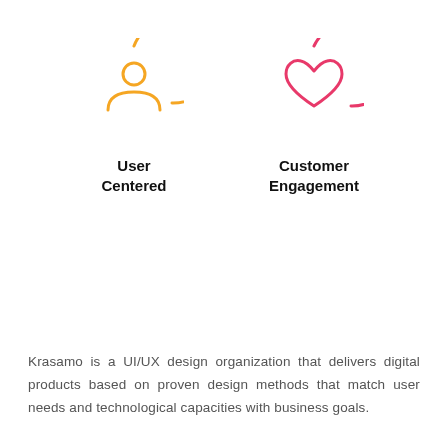[Figure (illustration): Orange circular icon with a person/user silhouette outline]
User
Centered
[Figure (illustration): Pink circular icon with a heart outline inside a circle]
Customer
Engagement
Krasamo is a UI/UX design organization that delivers digital products based on proven design methods that match user needs and technological capacities with business goals.